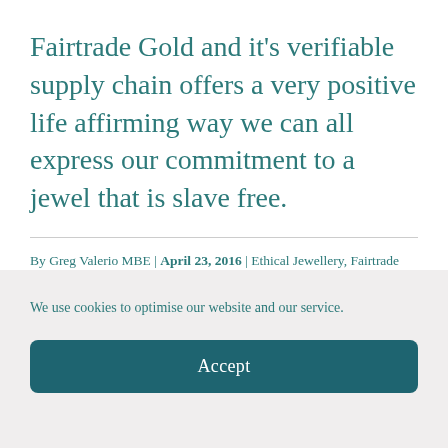Fairtrade Gold and it's verifiable supply chain offers a very positive life affirming way we can all express our commitment to a jewel that is slave free.
By Greg Valerio MBE | April 23, 2016 | Ethical Jewellery, Fairtrade Gold, Small-Scale Mining | 2 Comments
Read More ›
We use cookies to optimise our website and our service.
Accept